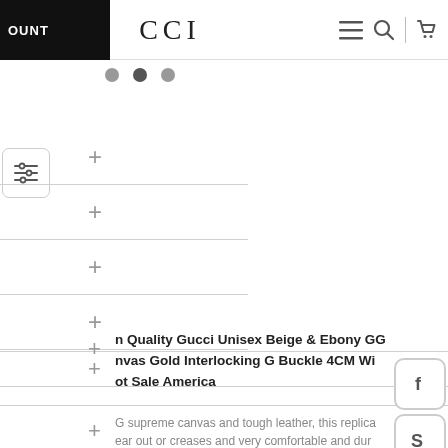DISCOUNT | GUCCI
[Figure (screenshot): Three pagination dots, middle one darker/active]
[Figure (screenshot): Filter/sliders icon in rounded box]
+ (accordion row 1)
+ (accordion row 2)
+ (accordion row 3)
+ (accordion row 4)
+ (accordion row 5)
n Quality Gucci Unisex Beige & Ebony GG nvas Gold Interlocking G Buckle 4CM Wi ot Sale America
G supreme canvas and tough leather, this replica ear out or creases and very comfortable and dur
[Figure (screenshot): Facebook social share button icon]
[Figure (screenshot): Skype social share button icon]